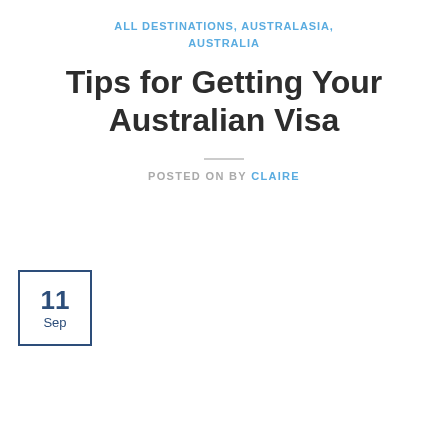ALL DESTINATIONS, AUSTRALASIA, AUSTRALIA
Tips for Getting Your Australian Visa
POSTED ON BY CLAIRE
11 Sep